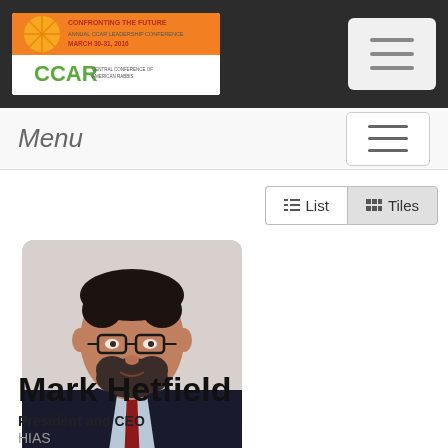[Figure (logo): CCAR conference logo with orange graphic and text 'CONFRONTING THE FUTURE, MARCH 30-31, 2016' and 'CCAR' in green on white/orange background]
[Figure (other): Hamburger menu icon button (top nav)]
Menu
[Figure (other): Hamburger menu icon button (menu bar)]
[Figure (other): List and Tiles view toggle buttons]
[Figure (photo): Headshot photo of Mark Hetfield, a middle-aged man with dark hair, beard, glasses, wearing a dark suit with a red tie and light blue shirt]
Mark Hetfield
President and CEO
HIAS